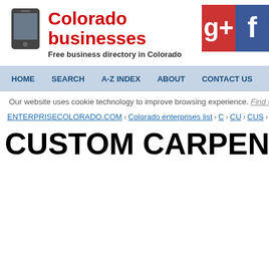Colorado businesses - Free business directory in Colorado
HOME  SEARCH  A-Z INDEX  ABOUT  CONTACT US
Our website uses cookie technology to improve browsing experience. Find out more by cli...
ENTERPRISECOLORADO.COM › Colorado enterprises list › C › CU › CUS › CUST › C...
CUSTOM CARPENTRY AND CONS...